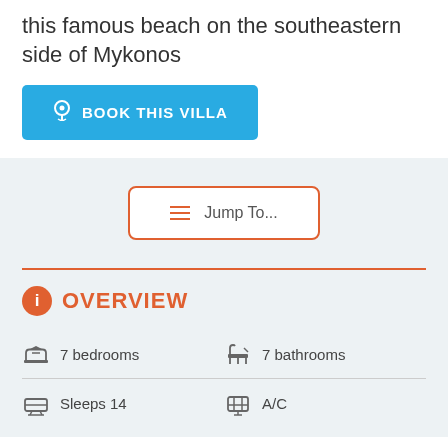this famous beach on the southeastern side of Mykonos
BOOK THIS VILLA
Jump To...
OVERVIEW
7 bedrooms
7 bathrooms
Sleeps 14
A/C